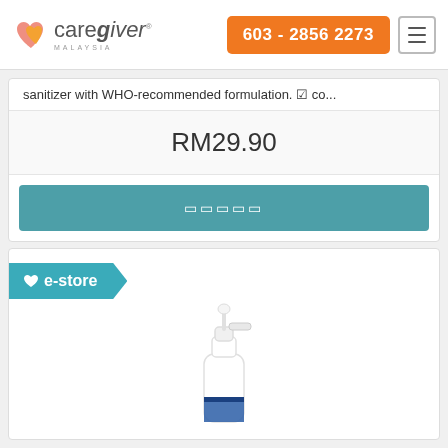CareGiver Malaysia | 603 - 2856 2273
sanitizer with WHO-recommended formulation. ☒ co...
RM29.90
☒☒☒☒☒
[Figure (photo): e-store badge with heart icon and a white pump spray bottle product]